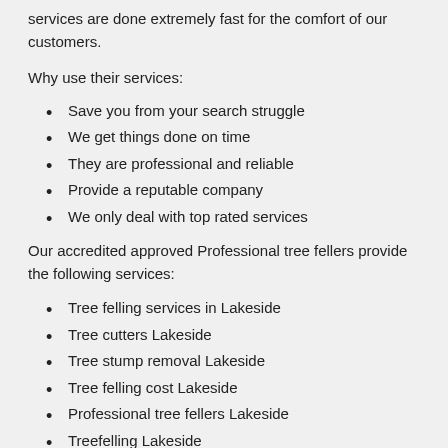services are done extremely fast for the comfort of our customers.
Why use their services:
Save you from your search struggle
We get things done on time
They are professional and reliable
Provide a reputable company
We only deal with top rated services
Our accredited approved Professional tree fellers provide the following services:
Tree felling services in Lakeside
Tree cutters Lakeside
Tree stump removal Lakeside
Tree felling cost Lakeside
Professional tree fellers Lakeside
Treefelling Lakeside
Tree fellers Lakeside
Tree felling contractors Lakeside
Tree felling companies Lakeside
Tree removal Lakeside
Professional tree fellers Lakeside
Tree Pruning Lakeside
Tree felling in Lakeside
Tree felling prices Lakeside
Tree felling Lakeside